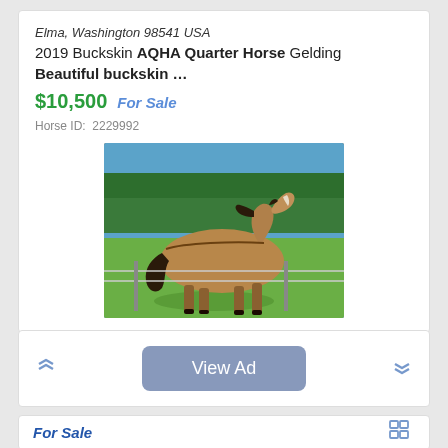Elma, Washington 98541 USA
2019 Buckskin AQHA Quarter Horse Gelding
Beautiful buckskin …
$10,500  For Sale
Horse ID: 2229992
[Figure (photo): A buckskin Quarter Horse gelding walking in a green pasture behind a barbed wire fence, with trees in the background.]
View Ad
For Sale